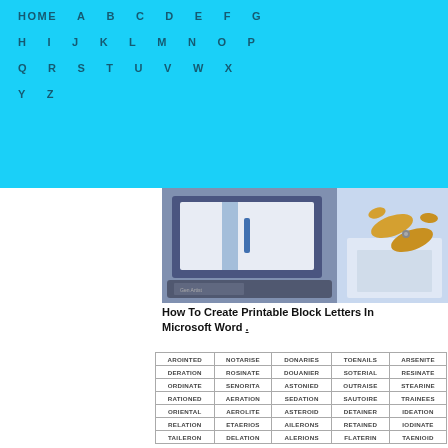HOME  A  B  C  D  E  F  G  H  I  J  K  L  M  N  O  P  Q  R  S  T  U  V  W  X  Y  Z
[Figure (illustration): Illustration of a laptop with a document open and scissors cutting paper beside it, used to illustrate creating printable block letters in Microsoft Word]
How To Create Printable Block Letters In Microsoft Word
| AROINTED | NOTARISE | DONARIES | TOENAILS | ARSENITE |
| DERATION | ROSINATE | DOUANIER | SOTERIAL | RESINATE |
| ORDINATE | SENORITA | ASTONIED | OUTRAISE | STEARINE |
| RATIONED | AERATION | SEDATION | SAUTOIRE | TRAINEES |
| ORIENTAL | AEROLITE | ASTEROID | DETAINER | IDEATION |
| RELATION | ETAERIOS | AILERONS | RETAINED | IODINATE |
| TAILERON | DELATION | ALERIONS | FLATERIN | TAENIOID |